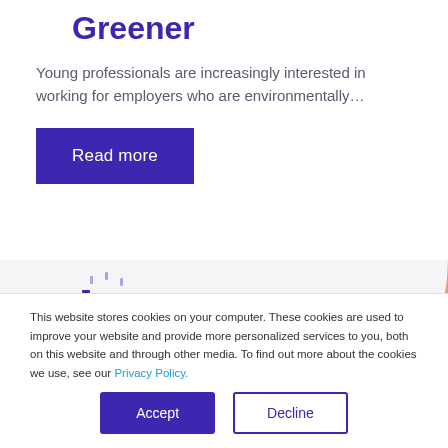Greener
Young professionals are increasingly interested in working for employers who are environmentally…
Read more
[Figure (illustration): Decorative image strip with scattered purple dots/marks on left side and salmon/coral triangle shape in top-right corner]
This website stores cookies on your computer. These cookies are used to improve your website and provide more personalized services to you, both on this website and through other media. To find out more about the cookies we use, see our Privacy Policy.
Accept
Decline